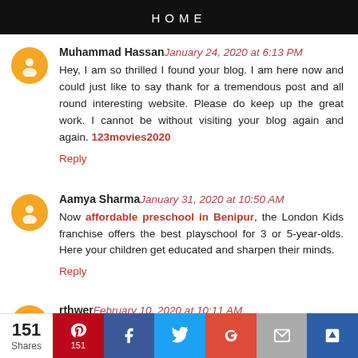HOME
Muhammad Hassan January 24, 2020 at 6:13 PM
Hey, I am so thrilled I found your blog. I am here now and could just like to say thank for a tremendous post and all round interesting website. Please do keep up the great work. I cannot be without visiting your blog again and again. 123movies2020
Reply
Aamya Sharma January 31, 2020 at 10:50 AM
Now affordable preschool in Benipur, the London Kids franchise offers the best playschool for 3 or 5-year-olds. Here your children get educated and sharpen their minds.
Reply
rthwer February 10, 2020 at 10:11 AM
151 Shares